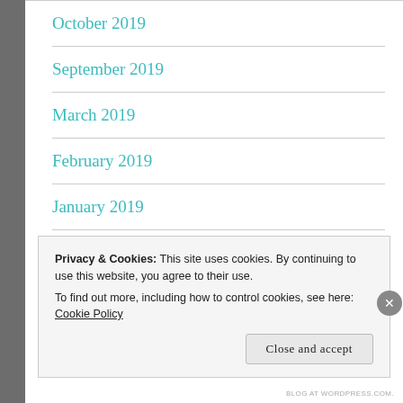October 2019
September 2019
March 2019
February 2019
January 2019
October 2018
Privacy & Cookies: This site uses cookies. By continuing to use this website, you agree to their use.
To find out more, including how to control cookies, see here: Cookie Policy
BLOG AT WORDPRESS.COM.